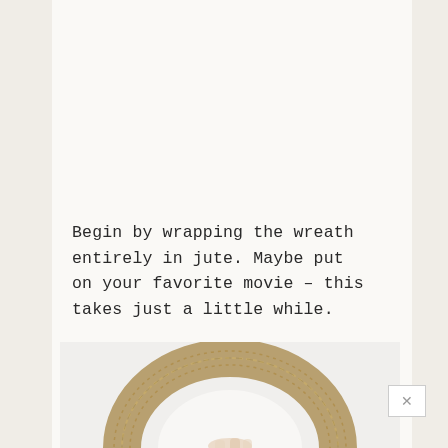Begin by wrapping the wreath entirely in jute. Maybe put on your favorite movie – this takes just a little while.
[Figure (photo): A jute-wrapped wreath ring (foam form covered in brown jute/twine) photographed against a white background, with a hand visible holding it from below.]